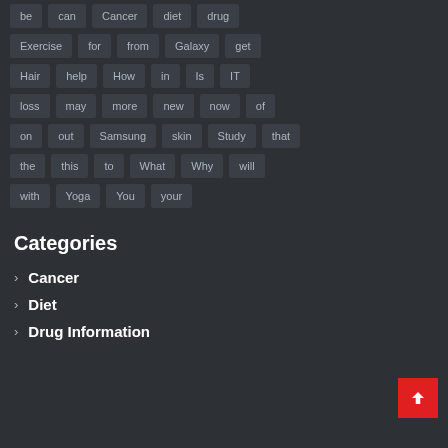be  can  Cancer  diet  drug
Exercise  for  from  Galaxy  get
Hair  help  How  in  Is  IT
loss  may  more  new  now  of
on  out  Samsung  skin  Study  that
the  this  to  What  Why  will
with  Yoga  You  your
Categories
› Cancer
› Diet
› Drug Information